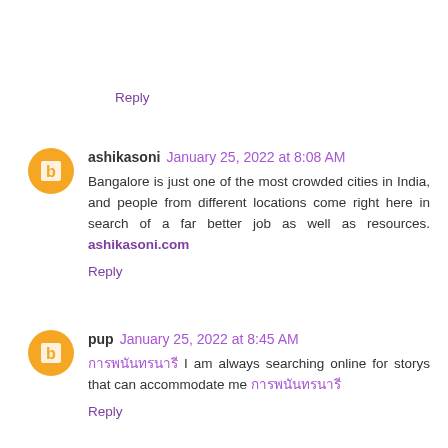Reply
ashikasoni January 25, 2022 at 8:08 AM
Bangalore is just one of the most crowded cities in India, and people from different locations come right here in search of a far better job as well as resources. ashikasoni.com
Reply
pup January 25, 2022 at 8:45 AM
[Thai text] I am always searching online for storys that can accommodate me [Thai text]
Reply